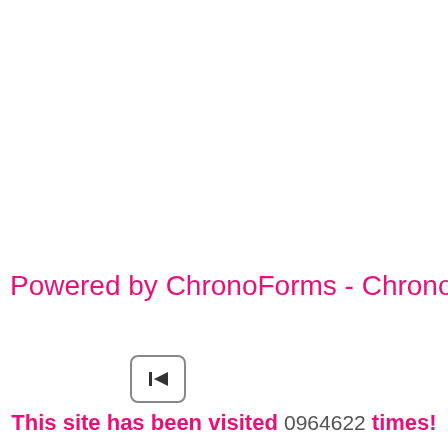Powered by ChronoForms - ChronoEngine.com
[Figure (other): A small button/icon with a skip-to-start (previous track) arrow symbol inside a rounded rectangle border]
This site has been visited 0964622 times!